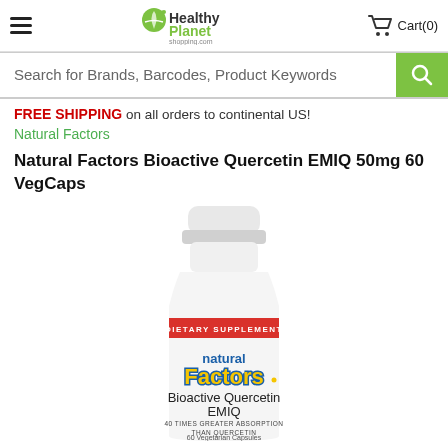HealthyPlanet shopping.com  Cart(0)
Search for Brands, Barcodes, Product Keywords
FREE SHIPPING on all orders to continental US!
Natural Factors
Natural Factors Bioactive Quercetin EMIQ 50mg 60 VegCaps
[Figure (photo): Product bottle of Natural Factors Bioactive Quercetin EMIQ, a white plastic supplement bottle with a red band reading DIETARY SUPPLEMENT, Natural Factors logo in yellow and blue, labeled Bioactive Quercetin EMIQ, 40 TIMES GREATER ABSORPTION THAN QUERCETIN, 60 Vegetarian Capsules]